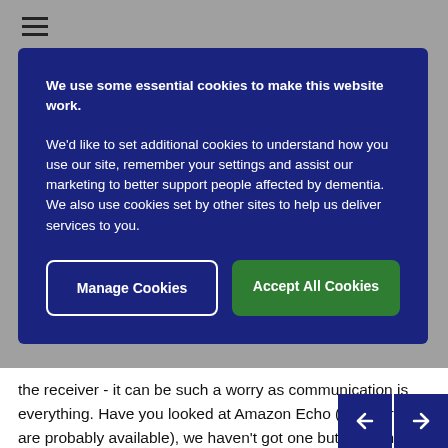[Figure (screenshot): Cookie consent banner overlay on a website. Dark navy blue background with white text and two buttons: 'Manage Cookies' (outlined) and 'Accept All Cookies' (green).]
the receiver - it can be such a worry as communication is everything. Have you looked at Amazon Echo (other brands are probably available), we haven't got one but so many people have recommended them, how I understand it is you can dial in yourself and pop up on the screen and your Mum won't need to do anything, I think you could buy smaller versions and maybe have a few in the house ... not sure if this would help. Also we have Blink cameras in Mum's house and we could talk to Mum through them, and you wouldn't need to use the phone and they are very reasonably